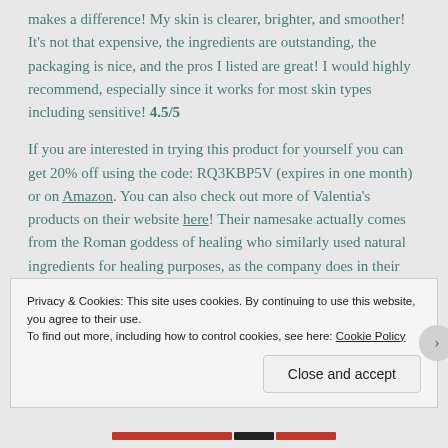makes a difference! My skin is clearer, brighter, and smoother! It's not that expensive, the ingredients are outstanding, the packaging is nice, and the pros I listed are great! I would highly recommend, especially since it works for most skin types including sensitive! 4.5/5
If you are interested in trying this product for yourself you can get 20% off using the code: RQ3KBP5V (expires in one month) or on Amazon. You can also check out more of Valentia's products on their website here! Their namesake actually comes from the Roman goddess of healing who similarly used natural ingredients for healing purposes, as the company does in their skincare!
Privacy & Cookies: This site uses cookies. By continuing to use this website, you agree to their use.
To find out more, including how to control cookies, see here: Cookie Policy